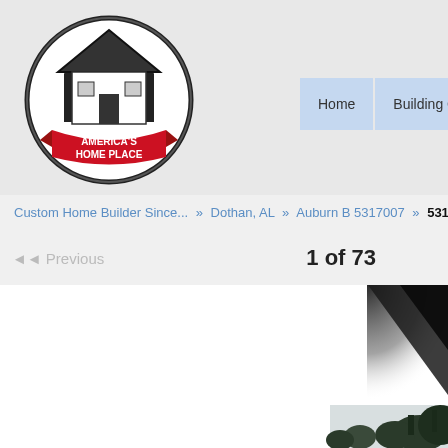[Figure (logo): America's Home Place circular logo with house illustration and red banner]
Home | Building Centers | Contact Us
Custom Home Builder Since... » Dothan, AL » Auburn B 5317007 » 53170...
◄◄ Previous    1 of 73
[Figure (photo): Partial photograph showing treetops against sky, partially cropped]